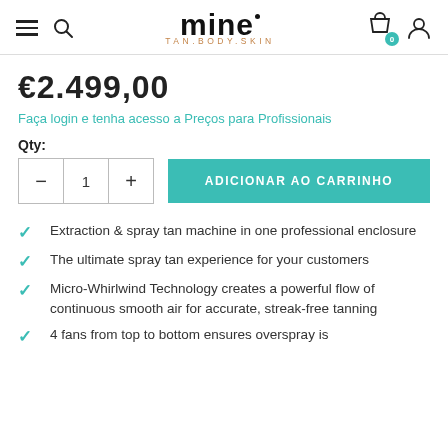mine TAN.BODY.SKIN
€2.499,00
Faça login e tenha acesso a Preços para Profissionais
Qty:
ADICIONAR AO CARRINHO
Extraction & spray tan machine in one professional enclosure
The ultimate spray tan experience for your customers
Micro-Whirlwind Technology creates a powerful flow of continuous smooth air for accurate, streak-free tanning
4 fans from top to bottom ensures overspray is